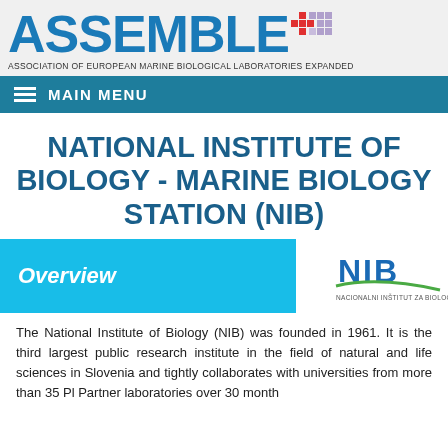ASSEMBLE+ — ASSOCIATION OF EUROPEAN MARINE BIOLOGICAL LABORATORIES EXPANDED
MAIN MENU
NATIONAL INSTITUTE OF BIOLOGY - MARINE BIOLOGY STATION (NIB)
Overview
[Figure (logo): NIB logo — Nacionalni Inštitut Za Biologijo]
The National Institute of Biology (NIB) was founded in 1961. It is the third largest public research institute in the field of natural and life sciences in Slovenia and tightly collaborates with universities from more than 35 EU Partner laboratories over 30 months